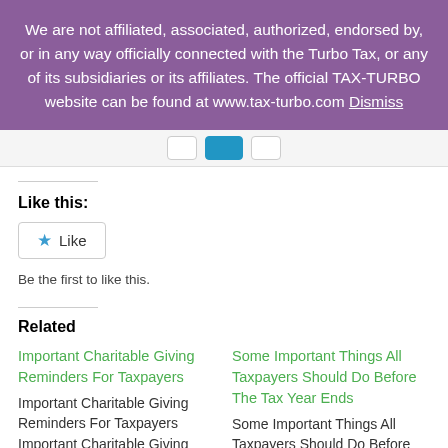We are not affiliated, associated, authorized, endorsed by, or in any way officially connected with the Turbo Tax, or any of its subsidiaries or its affiliates. The official TAX-TURBO website can be found at www.tax-turbo.com Dismiss
[Figure (screenshot): Navigation bar with three buttons, middle one highlighted in blue]
Like this:
[Figure (screenshot): Like button with blue star icon and 'Like' text]
Be the first to like this.
Related
Important Charitable Giving Reminders For Taxpayers Important Charitable Giving Reminders For Taxpayers Important Charitable Giving Reminders For Taxpayers Giving Tuesday is the
Some Important Things All Taxpayers Should Do Before The Tax Year Ends Some Important Things All Taxpayers Should Do Before The Tax Year Ends Some Important Things All